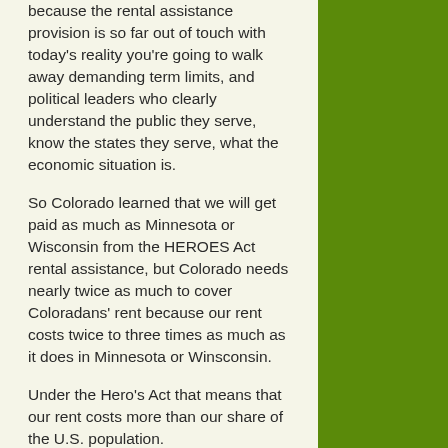because the rental assistance provision is so far out of touch with today's reality you're going to walk away demanding term limits, and political leaders who clearly understand the public they serve, know the states they serve, what the economic situation is.
So Colorado learned that we will get paid as much as Minnesota or Wisconsin from the HEROES Act rental assistance, but Colorado needs nearly twice as much to cover Coloradans' rent because our rent costs twice to three times as much as it does in Minnesota or Winsconsin.
Under the Hero's Act that means that our rent costs more than our share of the U.S. population.
Each state government will get a share of that money in proportion to its share of the U.S. population. Colorado, with